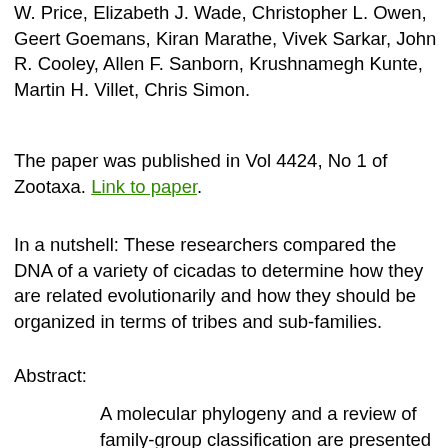W. Price, Elizabeth J. Wade, Christopher L. Owen, Geert Goemans, Kiran Marathe, Vivek Sarkar, John R. Cooley, Allen F. Sanborn, Krushnamegh Kunte, Martin H. Villet, Chris Simon.
The paper was published in Vol 4424, No 1 of Zootaxa. Link to paper.
In a nutshell: These researchers compared the DNA of a variety of cicadas to determine how they are related evolutionarily and how they should be organized in terms of tribes and sub-families.
Abstract:
A molecular phylogeny and a review of family-group classification are presented